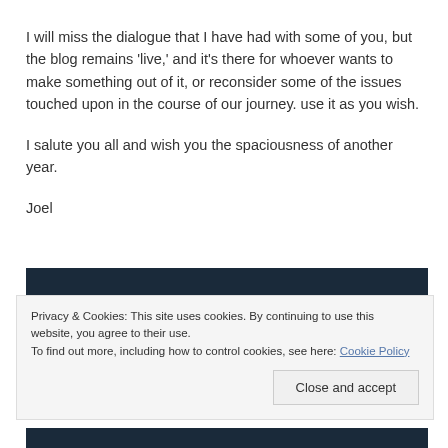I will miss the dialogue that I have had with some of you, but the blog remains 'live,' and it's there for whoever wants to make something out of it, or reconsider some of the issues touched upon in the course of our journey. use it as you wish.
I salute you all and wish you the spaciousness of another year.
Joel
[Figure (photo): Dark photograph, partially visible behind a cookie consent banner]
Privacy & Cookies: This site uses cookies. By continuing to use this website, you agree to their use.
To find out more, including how to control cookies, see here: Cookie Policy
Close and accept